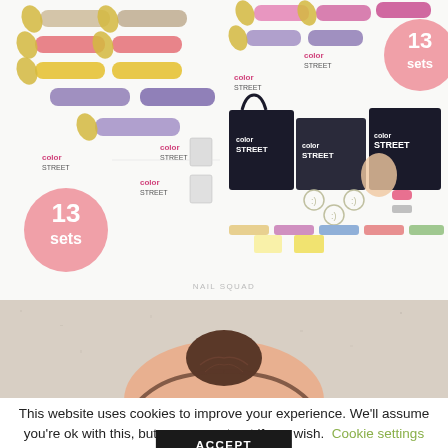[Figure (photo): Top-left: Color Street nail strips display with 13 sets badge (pink circle), gold leaf accents, multiple rows of colorful nail strip packages]
[Figure (photo): Top-right: Color Street kit products display with 13 sets badge (pink circle), nail strips, starter kit bags, and Color Street branded items]
NAIL SQUAD
[Figure (photo): Partial photo of a person's head from behind, showing hair bun against a beige/stone textured wall]
This website uses cookies to improve your experience. We'll assume you're ok with this, but you can opt-out if you wish. Cookie settings
ACCEPT